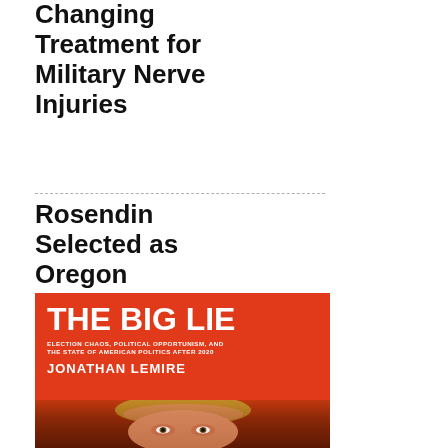Changing Treatment for Military Nerve Injuries
Rosendin Selected as Oregon National Guard Employer of the Year
[Figure (photo): Book cover of 'The Big Lie: Election Chaos, Political Opportunism, and the State of American Politics After 2020' by Jonathan Lemire, with an orange/red background and a partial image of a person's face at the bottom.]